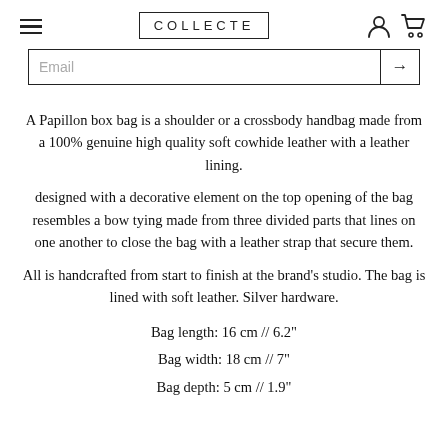COLLECTE
Email
A Papillon box bag is a shoulder or a crossbody handbag made from a 100% genuine high quality soft cowhide leather with a leather lining.
designed with a decorative element on the top opening of the bag resembles a bow tying made from three divided parts that lines on one another to close the bag with a leather strap that secure them.
All is handcrafted from start to finish at the brand's studio. The bag is lined with soft leather. Silver hardware.
Bag length: 16 cm // 6.2"
Bag width: 18 cm // 7"
Bag depth: 5 cm // 1.9"